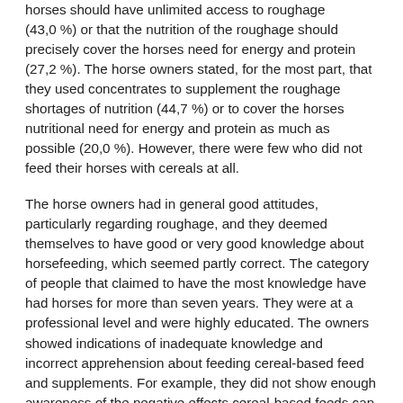horses should have unlimited access to roughage (43,0 %) or that the nutrition of the roughage should precisely cover the horses need for energy and protein (27,2 %). The horse owners stated, for the most part, that they used concentrates to supplement the roughage shortages of nutrition (44,7 %) or to cover the horses nutritional need for energy and protein as much as possible (20,0 %). However, there were few who did not feed their horses with cereals at all.
The horse owners had in general good attitudes, particularly regarding roughage, and they deemed themselves to have good or very good knowledge about horsefeeding, which seemed partly correct. The category of people that claimed to have the most knowledge have had horses for more than seven years. They were at a professional level and were highly educated. The owners showed indications of inadequate knowledge and incorrect apprehension about feeding cereal-based feed and supplements. For example, they did not show enough awareness of the negative effects cereal-based feeds can have on horse's health. However, the category of people that claimed to have the least knowledge had become horse owners more recent. They were active on a hobby level and had only a primary